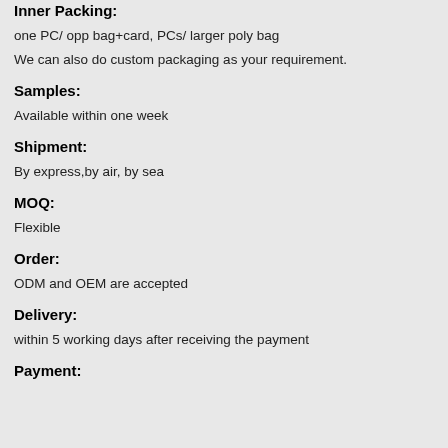Inner Packing:
one PC/ opp bag+card, PCs/ larger poly bag
We can also do custom packaging as your requirement.
Samples:
Available within one week
Shipment:
By express,by air, by sea
MOQ:
Flexible
Order:
ODM and OEM are accepted
Delivery:
within 5 working days after receiving the payment
Payment: